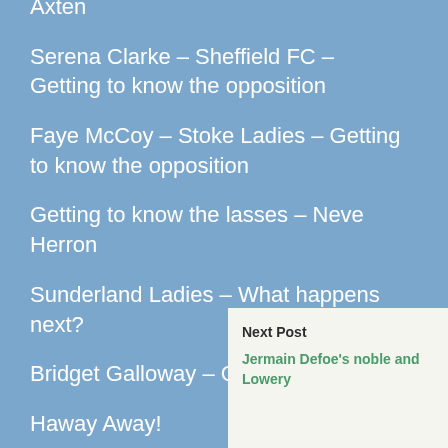Axten
Serena Clarke – Sheffield FC – Getting to know the opposition
Faye McCoy – Stoke Ladies – Getting to know the opposition
Getting to know the lasses – Neve Herron
Sunderland Ladies – What happens next?
Bridget Galloway – Goal Machine
Haway Away!
Stripes Go With Everything
Sunderland Ladies – Claudia M… Number One
SAFC Ladies – Well worth… in action
Next Post
Jermain Defoe's noble and Lowery